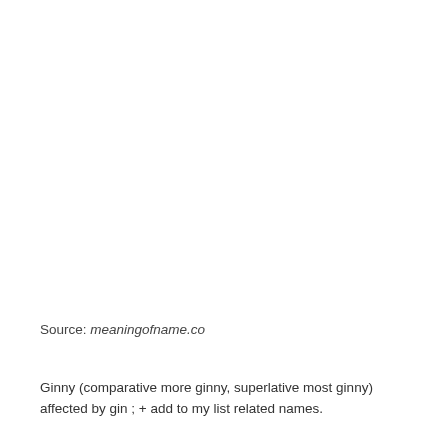Source: meaningofname.co
Ginny (comparative more ginny, superlative most ginny) affected by gin ; + add to my list related names.